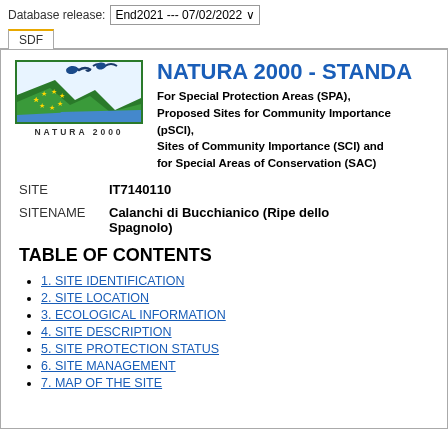Database release: End2021 --- 07/02/2022
NATURA 2000 - STANDARD DATA FORM
For Special Protection Areas (SPA), Proposed Sites for Community Importance (pSCI), Sites of Community Importance (SCI) and for Special Areas of Conservation (SAC)
SITE    IT7140110
SITENAME    Calanchi di Bucchianico (Ripe dello Spagnolo)
TABLE OF CONTENTS
1. SITE IDENTIFICATION
2. SITE LOCATION
3. ECOLOGICAL INFORMATION
4. SITE DESCRIPTION
5. SITE PROTECTION STATUS
6. SITE MANAGEMENT
7. MAP OF THE SITE